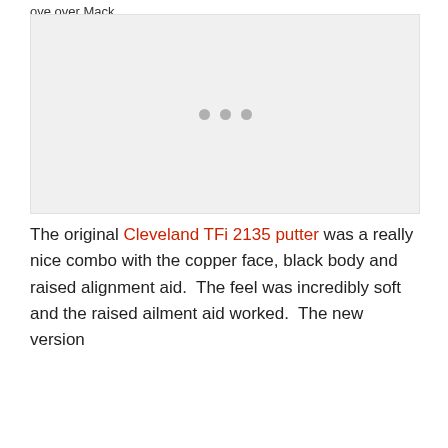ove over Mack.
[Figure (photo): Image placeholder with three grey dots centered, light grey background]
The original Cleveland TFi 2135 putter was a really nice combo with the copper face, black body and raised alignment aid.  The feel was incredibly soft and the raised ailment aid worked.  The new version